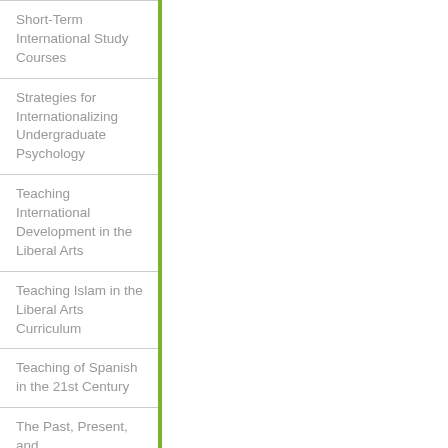Short-Term International Study Courses
Strategies for Internationalizing Undergraduate Psychology
Teaching International Development in the Liberal Arts
Teaching Islam in the Liberal Arts Curriculum
Teaching of Spanish in the 21st Century
The Past, Present, and